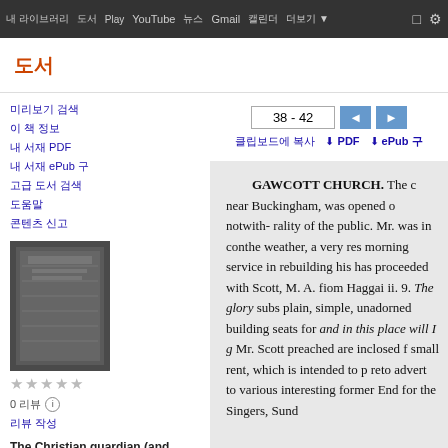내 라이브러리 | 도서 | Play | YouTube | 뉴스 | Gmail | 캘린더 | 더보기
도서
미리보기 검색
이 책 정보
내 서재 PDF
내 서재 ePub 구
고급 도서 검색
도움말
콘텐츠 신고
0 리뷰
리뷰 작성
The Christian guardian (and Church of England magazine).
38 - 42
GAWCOTT CHURCH. The c near Buckingham, was opened o notwith- rality of the public. Mr. was in conthe weather, a very res morning service in rebuilding his has proceeded with Scott, M. A. fiom Haggai ii. 9. The glory subs plain, simple, unadorned building seats for and in this place will I g Mr. Scott preached are inclosed f small rent, which is intended to p reto advert to various interesting former End for the Singers, Sund